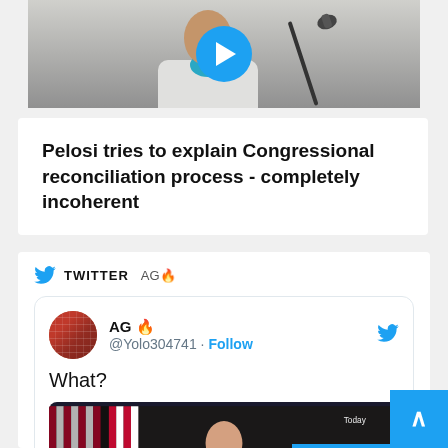[Figure (screenshot): Video thumbnail showing a person at a podium/microphone with a blue play button overlay]
Pelosi tries to explain Congressional reconciliation process - completely incoherent
TWITTER AG🔥
[Figure (screenshot): Embedded tweet from AG 🔥 @Yolo304741 with text 'What?' and an embedded video showing Pelosi at a podium with US flags, with a 'Watch on Twitter' overlay and play button]